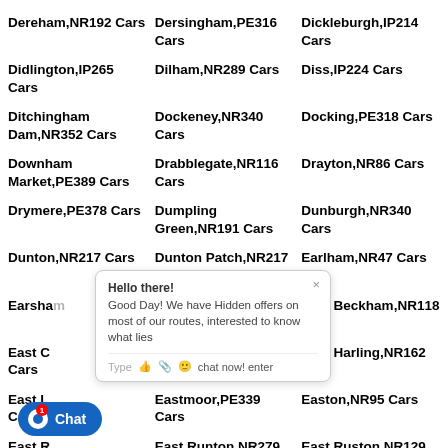Dereham,NR192 Cars
Dersingham,PE316 Cars
Dickleburgh,IP214 Cars
Didlington,IP265 Cars
Dilham,NR289 Cars
Diss,IP224 Cars
Ditchingham Dam,NR352 Cars
Dockeney,NR340 Cars
Docking,PE318 Cars
Downham Market,PE389 Cars
Drabblegate,NR116 Cars
Drayton,NR86 Cars
Drymere,PE378 Cars
Dumpling Green,NR191 Cars
Dunburgh,NR340 Cars
Dunton,NR217 Cars
Dunton Patch,NR217 Cars
Earlham,NR47 Cars
Earsha[m]...
East Barsham,NR210 Cars
East Beckham,NR118 Cars
East C[arleton]... Cars
Eastgate,NR104 Cars
East Harling,NR162 Cars
East L[ynford]... Cars
Eastmoor,PE339 Cars
Easton,NR95 Cars
East R[unham]... Cars
East Runton,NR279 Cars
East Ruston,NR129 Cars